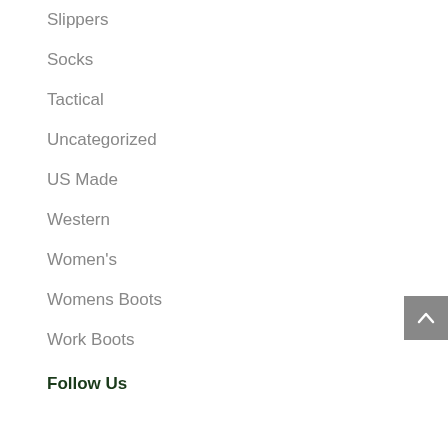Slippers
Socks
Tactical
Uncategorized
US Made
Western
Women's
Womens Boots
Work Boots
Follow Us